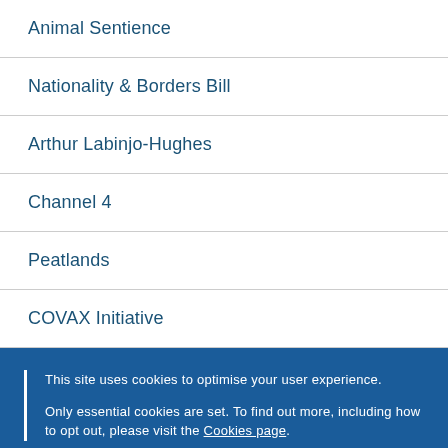Animal Sentience
Nationality & Borders Bill
Arthur Labinjo-Hughes
Channel 4
Peatlands
COVAX Initiative
This site uses cookies to optimise your user experience.

Only essential cookies are set. To find out more, including how to opt out, please visit the Cookies page.
OK   Hide this message and remember my decision